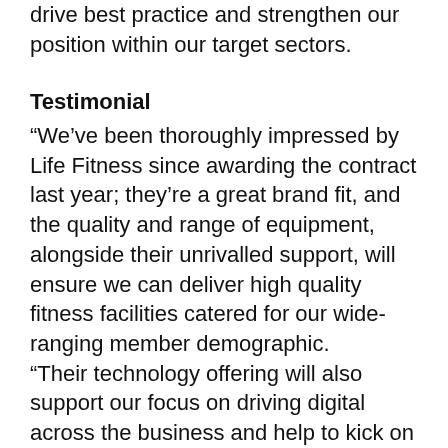drive best practice and strengthen our position within our target sectors.
Testimonial
“We’ve been thoroughly impressed by Life Fitness since awarding the contract last year; they’re a great brand fit, and the quality and range of equipment, alongside their unrivalled support, will ensure we can deliver high quality fitness facilities catered for our wide-ranging member demographic.
“Their technology offering will also support our focus on driving digital across the business and help to kick on our digital transformation work. Life Fitness are proving to be a key partner in helping us